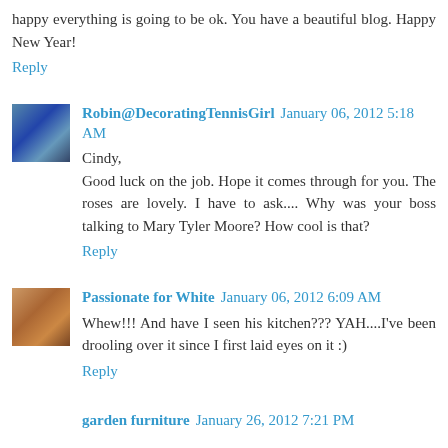happy everything is going to be ok. You have a beautiful blog. Happy New Year!
Reply
Robin@DecoratingTennisGirl January 06, 2012 5:18 AM
Cindy,
Good luck on the job. Hope it comes through for you. The roses are lovely. I have to ask.... Why was your boss talking to Mary Tyler Moore? How cool is that?
Reply
Passionate for White January 06, 2012 6:09 AM
Whew!!! And have I seen his kitchen??? YAH....I've been drooling over it since I first laid eyes on it :)
Reply
garden furniture January 26, 2012 7:21 PM